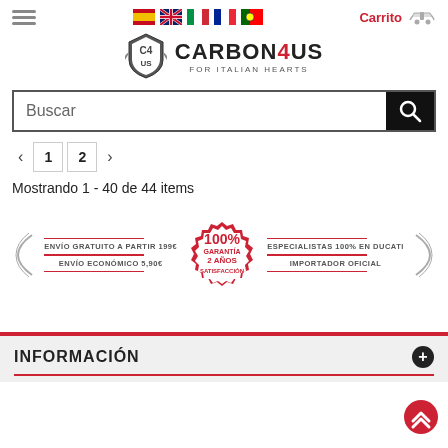[Figure (logo): Carbon4us website header with hamburger menu, language flags (Spain, UK, Italy, France, Portugal), Carrito link with motorcycle icon, and Carbon4us For Italian Hearts logo]
Buscar
1  2
Mostrando 1 - 40 de 44 items
[Figure (infographic): Banner strip: ENVÍO GRATUITO A PARTIR 199€ / ENVÍO ECONÓMICO 5,90€ on left, 100% Garantía 2 Años Satisfacción seal in center, ESPECIALISTAS 100% EN DUCATI / IMPORTADOR OFICIAL on right, with decorative wing brackets]
INFORMACIÓN
[Figure (infographic): Back to top double chevron icon in red]